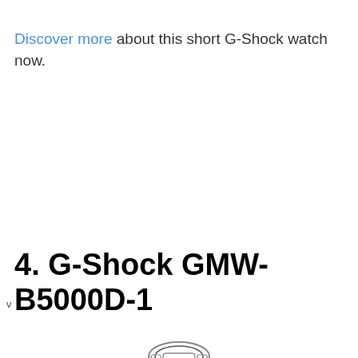Discover more about this short G-Shock watch now.
4. G-Shock GMW-B5000D-1
[Figure (photo): Partial view of a G-Shock GMW-B5000D-1 watch, showing the top portion of the watch face and case, cropped at the bottom of the page.]